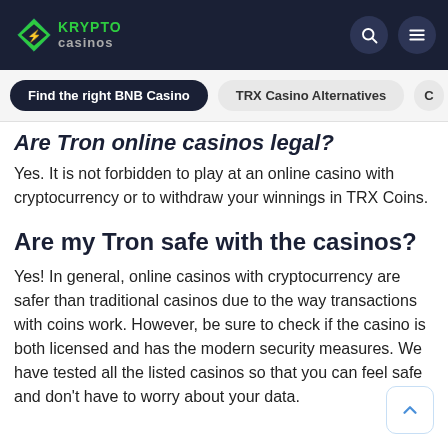KRYPTO Casinos
Are Tron online casinos legal?
Yes. It is not forbidden to play at an online casino with cryptocurrency or to withdraw your winnings in TRX Coins.
Are my Tron safe with the casinos?
Yes! In general, online casinos with cryptocurrency are safer than traditional casinos due to the way transactions with coins work. However, be sure to check if the casino is both licensed and has the modern security measures. We have tested all the listed casinos so that you can feel safe and don't have to worry about your data.